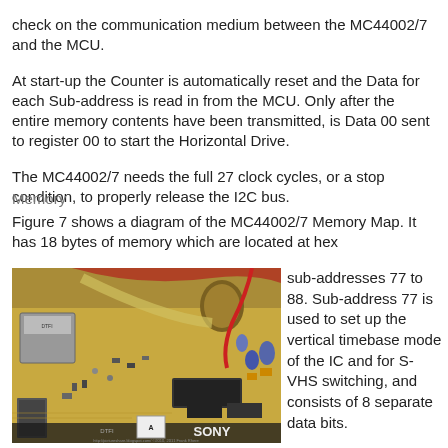check on the communication medium between the MC44002/7 and the MCU.
At start-up the Counter is automatically reset and the Data for each Sub-address is read in from the MCU. Only after the entire memory contents have been transmitted, is Data 00 sent to register 00 to start the Horizontal Drive.
The MC44002/7 needs the full 27 clock cycles, or a stop condition, to properly release the I2C bus.
Memory
Figure 7 shows a diagram of the MC44002/7 Memory Map. It has 18 bytes of memory which are located at hex sub-addresses 77 to 88. Sub-address 77 is used to set up the vertical timebase mode of the IC and for S-VHS switching, and consists of 8 separate data bits.
[Figure (photo): Photo of a Sony circuit board with various electronic components including capacitors, ICs, and connectors. The board is yellow/gold colored and has the Sony branding visible.]